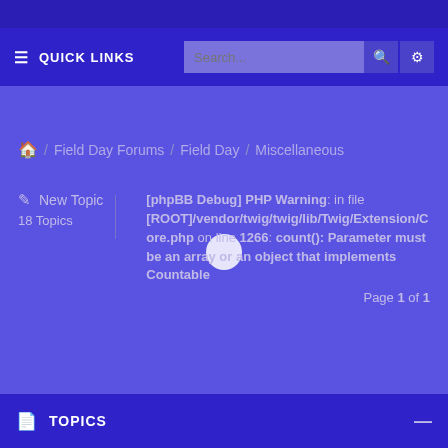≡ QUICK LINKS   Search...
🏠 / Field Day Forums / Field Day / Miscellaneous
✎ New Topic   18 Topics
[phpBB Debug] PHP Warning: in file [ROOT]/vendor/twig/twig/lib/Twig/Extension/Core.php on line 1266: count(): Parameter must be an array or an object that implements Countable Page 1 of 1
📄 TOPICS  —